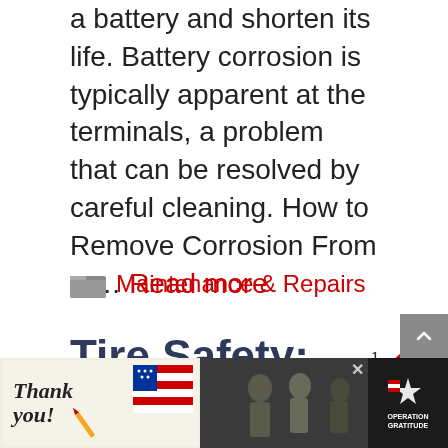a battery and shorten its life. Battery corrosion is typically apparent at the terminals, a problem that can be resolved by careful cleaning. How to Remove Corrosion From a … Read more
Maintenance & Repairs
Tire Safety: What You Must Know
[Figure (screenshot): Advertisement banner at bottom: 'Thank you!' with American flag imagery and Operation Gratitude logo on dark background]